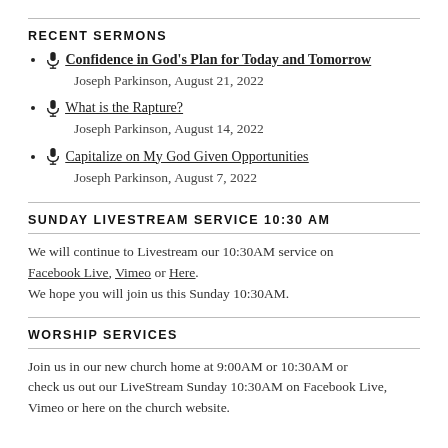RECENT SERMONS
Confidence in God's Plan for Today and Tomorrow
Joseph Parkinson, August 21, 2022
What is the Rapture?
Joseph Parkinson, August 14, 2022
Capitalize on My God Given Opportunities
Joseph Parkinson, August 7, 2022
SUNDAY LIVESTREAM SERVICE 10:30 AM
We will continue to Livestream our 10:30AM service on Facebook Live, Vimeo or Here.
We hope you will join us this Sunday 10:30AM.
WORSHIP SERVICES
Join us in our new church home at 9:00AM or 10:30AM or check us out our LiveStream Sunday 10:30AM on Facebook Live, Vimeo or here on the church website.